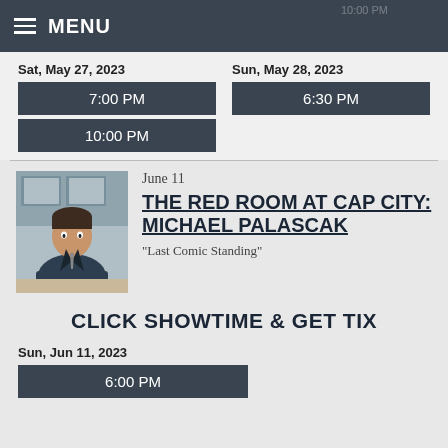MENU
Sat, May 27, 2023
7:00 PM
10:00 PM
Sun, May 28, 2023
6:30 PM
[Figure (photo): Headshot photo of Michael Palascak seated at a table in a suit]
June 11
THE RED ROOM AT CAP CITY: MICHAEL PALASCAK
"Last Comic Standing"
CLICK SHOWTIME & GET TIX
Sun, Jun 11, 2023
6:00 PM